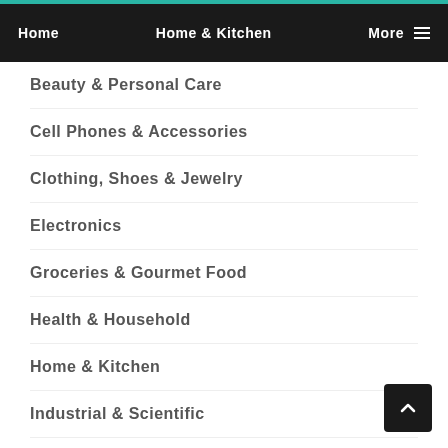Home   Home & Kitchen   More
Beauty & Personal Care
Cell Phones & Accessories
Clothing, Shoes & Jewelry
Electronics
Groceries & Gourmet Food
Health & Household
Home & Kitchen
Industrial & Scientific
Patio Lawn & Garden
Sports & Outdoors